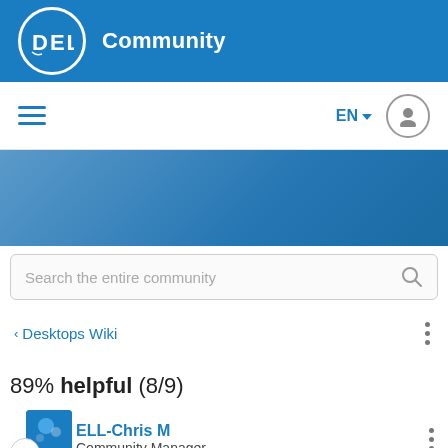Dell Community
[Figure (screenshot): Navigation bar with hamburger menu, EN language selector, and user icon]
[Figure (screenshot): Blue banner area]
Search the entire community
< Desktops Wiki
89% helpful (8/9)
ELL-Chris M Community Manager